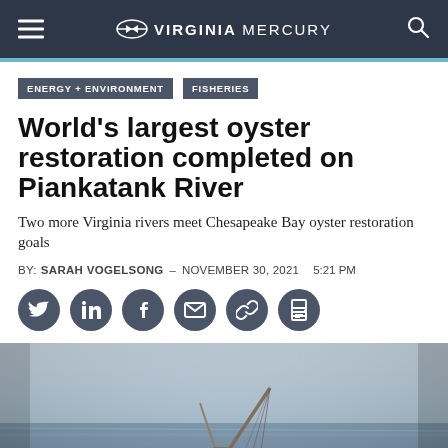Virginia Mercury
ENERGY + ENVIRONMENT   FISHERIES
World’s largest oyster restoration completed on Piankatank River
Two more Virginia rivers meet Chesapeake Bay oyster restoration goals
BY: SARAH VOGELSONG – NOVEMBER 30, 2021   5:21 PM
[Figure (photo): Crane barge on a river with calm water and hazy sky, fisheye wide-angle view]